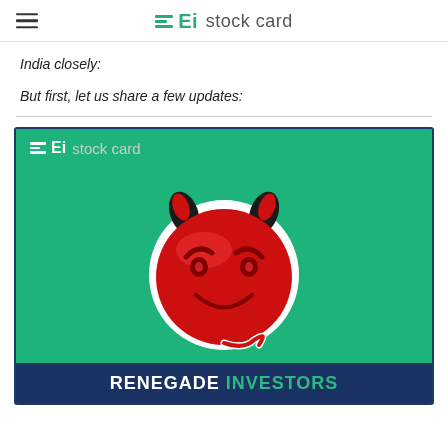Ei stock card
India closely:
But first, let us share a few updates:
[Figure (logo): Renegade Investors promotional image with devil mascot on green background and Ei stock card logo, with 'RENEGADE INVESTORS' text banner at bottom]